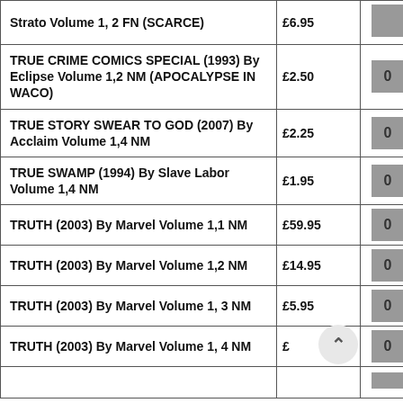| Item | Price | Qty |
| --- | --- | --- |
| Strato Volume 1, 2 FN (SCARCE) | £6.95 | 0 |
| TRUE CRIME COMICS SPECIAL (1993) By Eclipse Volume 1,2 NM (APOCALYPSE IN WACO) | £2.50 | 0 |
| TRUE STORY SWEAR TO GOD (2007) By Acclaim Volume 1,4 NM | £2.25 | 0 |
| TRUE SWAMP (1994) By Slave Labor Volume 1,4 NM | £1.95 | 0 |
| TRUTH (2003) By Marvel Volume 1,1 NM | £59.95 | 0 |
| TRUTH (2003) By Marvel Volume 1,2 NM | £14.95 | 0 |
| TRUTH (2003) By Marvel Volume 1, 3 NM | £5.95 | 0 |
| TRUTH (2003) By Marvel Volume 1, 4 NM | £8.xx | 0 |
| (partial row) |  | 0 |